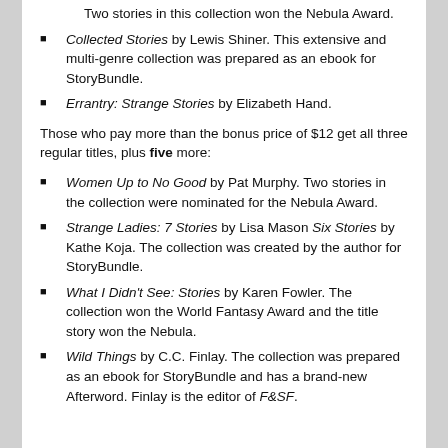Two stories in this collection won the Nebula Award.
Collected Stories by Lewis Shiner. This extensive and multi-genre collection was prepared as an ebook for StoryBundle.
Errantry: Strange Stories by Elizabeth Hand.
Those who pay more than the bonus price of $12 get all three regular titles, plus five more:
Women Up to No Good by Pat Murphy. Two stories in the collection were nominated for the Nebula Award.
Strange Ladies: 7 Stories by Lisa Mason Six Stories by Kathe Koja. The collection was created by the author for StoryBundle.
What I Didn't See: Stories by Karen Fowler. The collection won the World Fantasy Award and the title story won the Nebula.
Wild Things by C.C. Finlay. The collection was prepared as an ebook for StoryBundle and has a brand-new Afterword. Finlay is the editor of F&SF.